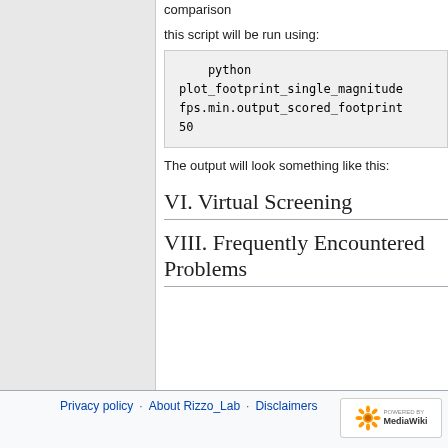comparison
this script will be run using:
python
plot_footprint_single_magnitude
fps.min.output_scored_footprint
50
The output will look something like this:
VI. Virtual Screening
VIII. Frequently Encountered Problems
Privacy policy · About Rizzo_Lab · Disclaimers